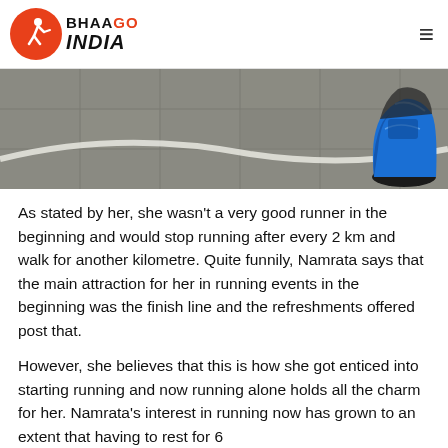BHAAGO INDIA
[Figure (photo): Close-up view of a running shoe (blue) on a grey paved surface with a white curved line visible]
As stated by her, she wasn't a very good runner in the beginning and would stop running after every 2 km and walk for another kilometre. Quite funnily, Namrata says that the main attraction for her in running events in the beginning was the finish line and the refreshments offered post that.
However, she believes that this is how she got enticed into starting running and now running alone holds all the charm for her. Namrata's interest in running now has grown to an extent that having to rest for 6